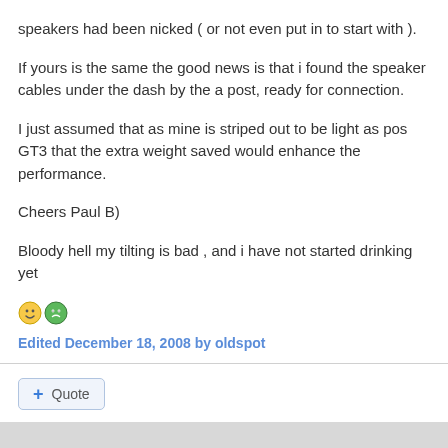speakers had been nicked ( or not even put in to start with ).
If yours is the same the good news is that i found the speaker cables under the dash by the a post, ready for connection.
I just assumed that as mine is striped out to be light as pos GT3 that the extra weight saved would enhance the performance.
Cheers Paul B)
Bloody hell my tilting is bad , and i have not started drinking yet
Edited December 18, 2008 by oldspot
+ Quote
peter_england99
Posted December 19, 2008